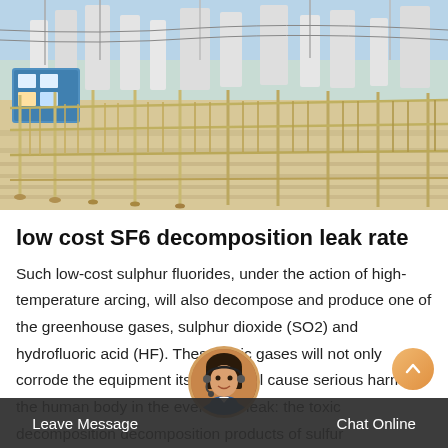[Figure (photo): Outdoor electrical substation with metal safety fencing/railings in foreground, high-voltage equipment and utility poles visible in background, taken during daytime.]
low cost SF6 decomposition leak rate
Such low-cost sulphur fluorides, under the action of high-temperature arcing, will also decompose and produce one of the greenhouse gases, sulphur dioxide (SO2) and hydrofluoric acid (HF). These toxic gases will not only corrode the equipment itself, but will cause serious harm to the human body in the event of a leak: the toxic decomposition decomposition products of sulfur hexafluoride (SF6 ...